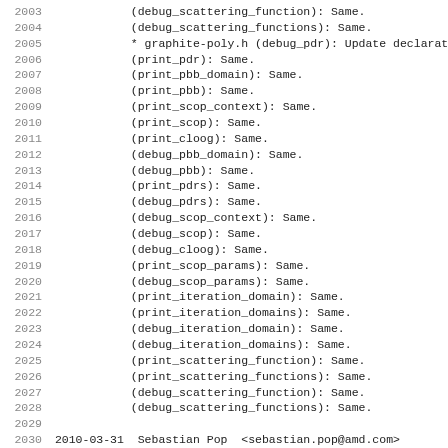2003    (debug_scattering_function): Same.
2004    (debug_scattering_functions): Same.
2005    * graphite-poly.h (debug_pdr): Update declarati
2006    (print_pdr): Same.
2007    (print_pbb_domain): Same.
2008    (print_pbb): Same.
2009    (print_scop_context): Same.
2010    (print_scop): Same.
2011    (print_cloog): Same.
2012    (debug_pbb_domain): Same.
2013    (debug_pbb): Same.
2014    (print_pdrs): Same.
2015    (debug_pdrs): Same.
2016    (debug_scop_context): Same.
2017    (debug_scop): Same.
2018    (debug_cloog): Same.
2019    (print_scop_params): Same.
2020    (debug_scop_params): Same.
2021    (print_iteration_domain): Same.
2022    (print_iteration_domains): Same.
2023    (debug_iteration_domain): Same.
2024    (debug_iteration_domains): Same.
2025    (print_scattering_function): Same.
2026    (print_scattering_functions): Same.
2027    (debug_scattering_function): Same.
2028    (debug_scattering_functions): Same.
2029
2030 2010-03-31  Sebastian Pop  <sebastian.pop@amd.com>
2031
2032    * graphite-poly.c (print_scattering_function_1)
2033    (print_scattering_function): Call it.
2034    (print_scop_params): Remove spaces at the end o